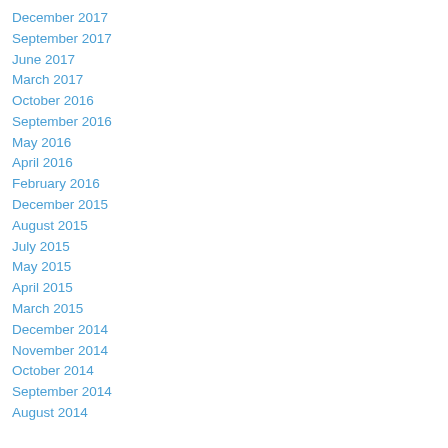December 2017
September 2017
June 2017
March 2017
October 2016
September 2016
May 2016
April 2016
February 2016
December 2015
August 2015
July 2015
May 2015
April 2015
March 2015
December 2014
November 2014
October 2014
September 2014
August 2014